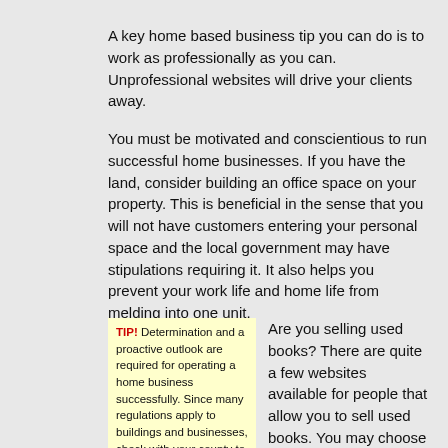A key home based business tip you can do is to work as professionally as you can. Unprofessional websites will drive your clients away.
You must be motivated and conscientious to run successful home businesses. If you have the land, consider building an office space on your property. This is beneficial in the sense that you will not have customers entering your personal space and the local government may have stipulations requiring it. It also helps you prevent your work life and home life from melding into one unit.
TIP! Determination and a proactive outlook are required for operating a home business successfully. Since many regulations apply to buildings and businesses, check with your county to make sure the set up you have in mind for your...
Are you selling used books? There are quite a few websites available for people that allow you to sell used books. You may choose to use more than one. Rate them according to...